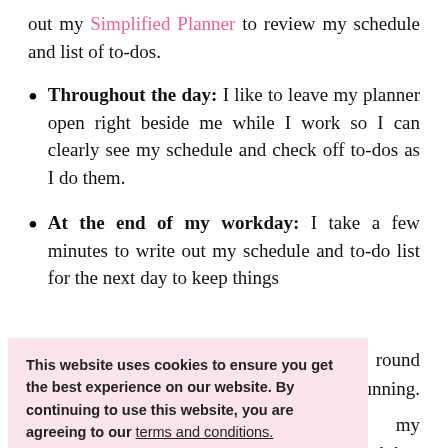out my Simplified Planner to review my schedule and list of to-dos.
Throughout the day: I like to leave my planner open right beside me while I work so I can clearly see my schedule and check off to-dos as I do them.
At the end of my workday: I take a few minutes to write out my schedule and to-do list for the next day to keep things running. This helps me wind down from my workday.
...keep your planner a place to always know where it is. I keep mine right on my desk or in my top desk drawer.
[Figure (screenshot): Cookie consent popup overlay with pink background reading: 'This website uses cookies to ensure you get the best experience on our website. By continuing to use this website, you are agreeing to our terms and conditions.' with an 'OK, GOT IT!!' pink button.]